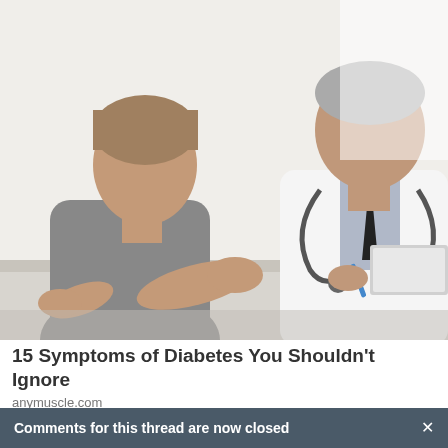[Figure (photo): A middle-aged male patient sitting across a desk from a grey-haired male doctor in a white coat with a stethoscope. The patient has his hands gesturing forward. The doctor holds a pen and has a laptop on the desk. White background.]
15 Symptoms of Diabetes You Shouldn't Ignore
anymuscle.com
Comments for this thread are now closed